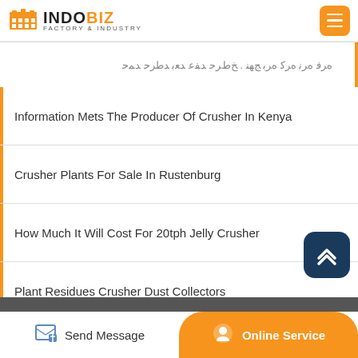INDOBIZ FACTORY & INDUSTRY
Information Mets The Producer Of Crusher In Kenya
Crusher Plants For Sale In Rustenburg
How Much It Will Cost For 20tph Jelly Crusher
Plant Residues Crusher Dust Collectors
Crusher For Primary Dolomite
Send Message | Online Service